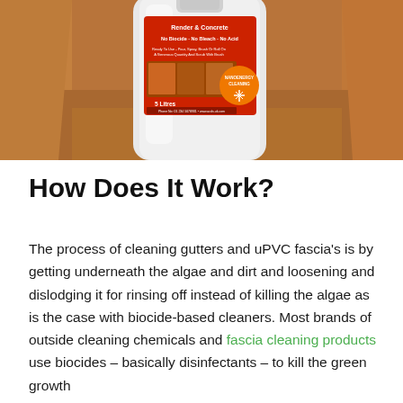[Figure (photo): A white 5-litre plastic container/bottle of a cleaning product with a red label on a sandy/brown background. The label reads 'Render & Concrete', 'No Biocide - No Bleach - No Acid', 'Ready To Use - Pour, Spray, Brush Or Roll On A Generous Quantity And Scrub With Brush', '5 Litres', and features an orange 'Nanoenergy Cleaning' badge with a snowflake-like icon.]
How Does It Work?
The process of cleaning gutters and uPVC fascia's is by getting underneath the algae and dirt and loosening and dislodging it for rinsing off instead of killing the algae as is the case with biocide-based cleaners. Most brands of outside cleaning chemicals and fascia cleaning products use biocides – basically disinfectants – to kill the green growth